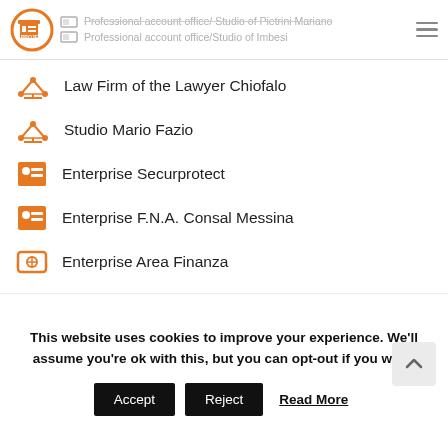Professional account office/ Studio of Pietrini Mariano | Professional account office/Studio of Imbesi
Law Firm of the Lawyer Chiofalo
Studio Mario Fazio
Enterprise Securprotect
Enterprise F.N.A. Consal Messina
Enterprise Area Finanza
[Figure (illustration): A checkmark inside a circle, in grey, indicating completion]
General Skills and Competencies Acquired:
This website uses cookies to improve your experience. We'll assume you're ok with this, but you can opt-out if you wish. Accept  Reject  Read More